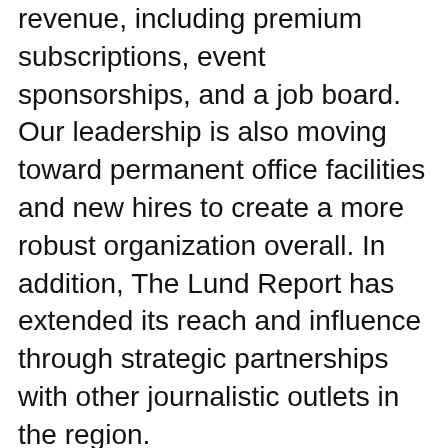revenue, including premium subscriptions, event sponsorships, and a job board. Our leadership is also moving toward permanent office facilities and new hires to create a more robust organization overall. In addition, The Lund Report has extended its reach and influence through strategic partnerships with other journalistic outlets in the region.
The changes, however, have increased our need to fund our technology and web development teams and the operational costs that come with our expanded reach. And despite our new capacity to earn revenue, over half of our operating budget continues to come from donations from devoted readers like you.
We are looking to the generosity of our readers